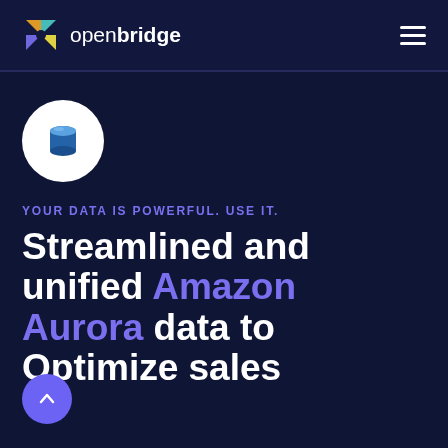openbridge
[Figure (logo): Amazon Aurora database service icon — white circle with blue 3D cylinder shape inside]
YOUR DATA IS POWERFUL. USE IT.
Streamlined and unified Amazon Aurora data to Optimize sales